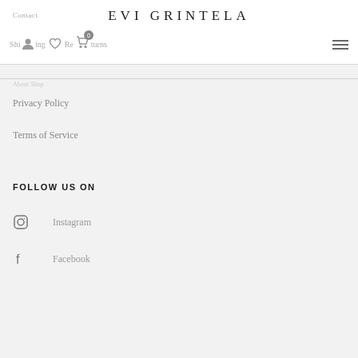EVI GRINTELA
Contact
Shipping  Returns
Privacy Policy
Terms of Service
FOLLOW US ON
Instagram
Facebook